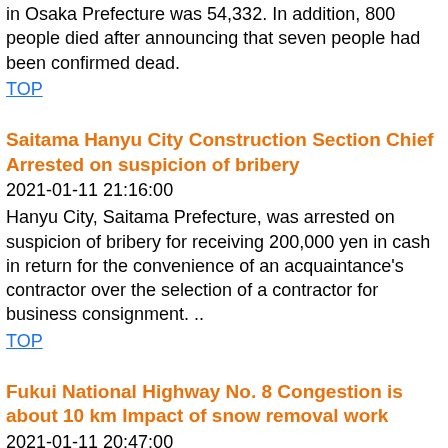in Osaka Prefecture was 54,332. In addition, 800 people died after announcing that seven people had been confirmed dead.
TOP
Saitama Hanyu City Construction Section Chief Arrested on suspicion of bribery
2021-01-11 21:16:00
Hanyu City, Saitama Prefecture, was arrested on suspicion of bribery for receiving 200,000 yen in cash in return for the convenience of an acquaintance's contractor over the selection of a contractor for business consignment. ..
TOP
Fukui National Highway No. 8 Congestion is about 10 km Impact of snow removal work
2021-01-11 20:47:00
National highway No. 8 in Fukui prefecture is congested due to the snow removal work caused by heavy snow, and as of 8:00